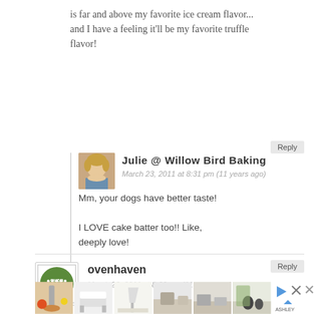is far and above my favorite ice cream flavor… and I have a feeling it'll be my favorite truffle flavor!
Reply
[Figure (photo): Avatar photo of Julie @ Willow Bird Baking — a woman with blonde hair]
Julie @ Willow Bird Baking
March 23, 2011 at 8:31 pm (11 years ago)
Mm, your dogs have better taste!

I LOVE cake batter too!! Like, deeply love!
Reply
ovenhaven
March 23, 2011 at 8:00 pm (11 years ago)
[Figure (logo): Ovenhaven logo — green circle with oven icon and text]
[Figure (photo): Advertisement thumbnail strip with food and furniture images]